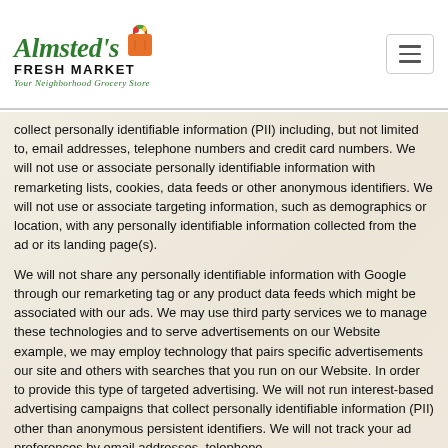Almsted's Fresh Market — Your Neighborhood Grocery Store
collect personally identifiable information (PII) including, but not limited to, email addresses, telephone numbers and credit card numbers. We will not use or associate personally identifiable information with remarketing lists, cookies, data feeds or other anonymous identifiers. We will not use or associate targeting information, such as demographics or location, with any personally identifiable information collected from the ad or its landing page(s).
We will not share any personally identifiable information with Google through our remarketing tag or any product data feeds which might be associated with our ads. We may use third party services we to manage these technologies and to serve advertisements on our Website example, we may employ technology that pairs specific advertisements our site and others with searches that you run on our Website. In order to provide this type of targeted advertising. We will not run interest-based advertising campaigns that collect personally identifiable information (PII) other than anonymous persistent identifiers. We will not track your ad preferences by email addresses, telephone